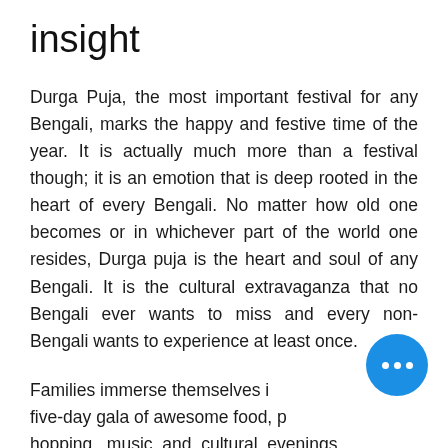insight
Durga Puja, the most important festival for any Bengali, marks the happy and festive time of the year. It is actually much more than a festival though; it is an emotion that is deep rooted in the heart of every Bengali. No matter how old one becomes or in whichever part of the world one resides, Durga puja is the heart and soul of any Bengali. It is the cultural extravaganza that no Bengali ever wants to miss and every non-Bengali wants to experience at least once.
Families immerse themselves in a five-day gala of awesome food, pandal hopping, music and cultural evenings